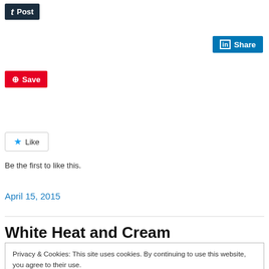[Figure (screenshot): Tumblr Post share button, dark navy background with italic t icon and 'Post' text in white]
[Figure (screenshot): LinkedIn Share button, blue background with 'in' icon and 'Share' text in white]
[Figure (screenshot): Pinterest Save button, red background with circle-P icon and 'Save' text in white]
[Figure (screenshot): WordPress Like button with blue star icon and 'Like' text, grey border]
Be the first to like this.
April 15, 2015
White Heat and Cream
Privacy & Cookies: This site uses cookies. By continuing to use this website, you agree to their use.
To find out more, including how to control cookies, see here: Cookie Policy
Close and accept